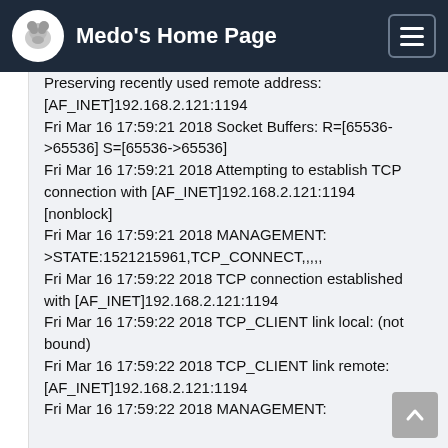Medo's Home Page
Preserving recently used remote address: [AF_INET]192.168.2.121:1194
Fri Mar 16 17:59:21 2018 Socket Buffers: R=[65536->65536] S=[65536->65536]
Fri Mar 16 17:59:21 2018 Attempting to establish TCP connection with [AF_INET]192.168.2.121:1194 [nonblock]
Fri Mar 16 17:59:21 2018 MANAGEMENT: >STATE:1521215961,TCP_CONNECT,,,,,
Fri Mar 16 17:59:22 2018 TCP connection established with [AF_INET]192.168.2.121:1194
Fri Mar 16 17:59:22 2018 TCP_CLIENT link local: (not bound)
Fri Mar 16 17:59:22 2018 TCP_CLIENT link remote: [AF_INET]192.168.2.121:1194
Fri Mar 16 17:59:22 2018 MANAGEMENT: